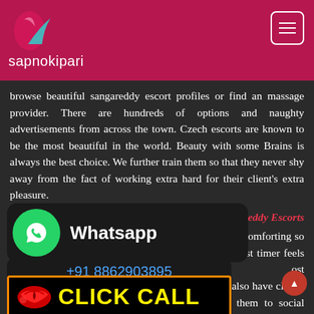sapnokipari
browse beautiful sangareddy escort profiles or find an massage provider. There are hundreds of options and naughty advertisements from across the town. Czech escorts are known to be the most beautiful in the world. Beauty with some Brains is always the best choice. We further train them so that they never shy away from the fact of working extra hard for their client's extra pleasure.
dult service sangareddy Escorts
de of the lady should be poised, and comforting so that every man including the one who is shy or a first timer feels comfortable and relaxed with the Escort he ost entertaining partners any man We also have clients who hire our sangareddy Escorts for escorting them to social events and lively yet poised personality that
[Figure (logo): WhatsApp popup with green circle icon and Whatsapp label, plus phone number +91 8862903895]
[Figure (infographic): Click Call banner with lips icon and yellow CLICK CALL text on black background with orange border]
atisfaction verified Escorts Girls in